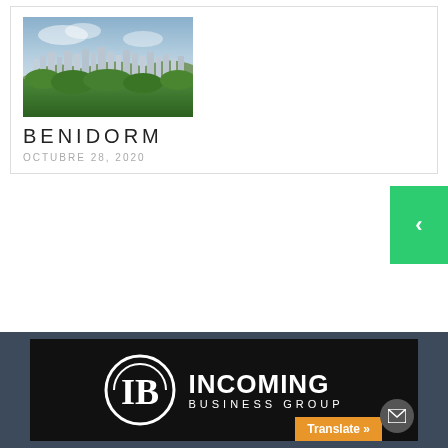[Figure (photo): Aerial photo of Benidorm city skyline with tall buildings surrounded by lush green trees and blue sky with clouds]
BENIDORM
OCTUBRE 28, 2020
[Figure (logo): Incoming Business Group logo — white circular IB monogram on black background with company name INCOMING BUSINESS GROUP in white text]
Translate »